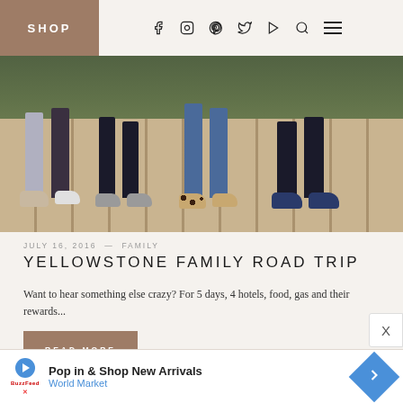SHOP
[Figure (photo): Photo showing legs and feet of multiple people wearing sneakers (white New Balance, grey shoes, leopard print Vans, blue Vans) standing on a wooden deck with trees in background]
JULY 16, 2016  —  FAMILY
YELLOWSTONE FAMILY ROAD TRIP
Want to hear something else crazy? For 5 days, 4 hotels, food, gas and their rewards...
READ MORE
[Figure (other): Advertisement banner: Pop in & Shop New Arrivals — World Market]